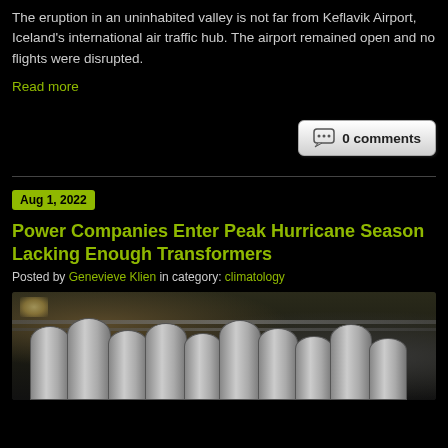The eruption in an uninhabited valley is not far from Keflavik Airport, Iceland's international air traffic hub. The airport remained open and no flights were disrupted.
Read more
[Figure (other): Comments button showing '0 comments' with speech bubble icon]
Aug 1, 2022
Power Companies Enter Peak Hurricane Season Lacking Enough Transformers
Posted by Genevieve Klien in category: climatology
[Figure (photo): Industrial warehouse interior showing rows of large cylindrical electrical transformers with a window providing natural light in the background]